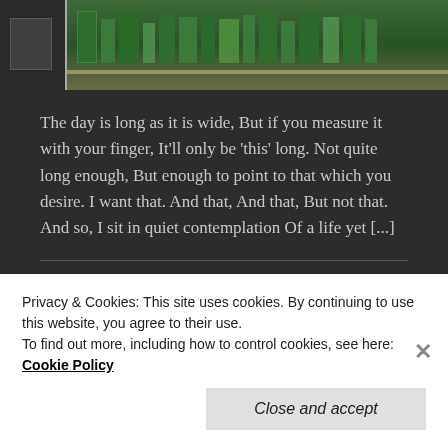[Figure (photo): Photo of bookshelves with green-spined books, dark background, partially visible shelf edge]
The day is long as it is wide, But if you measure it with your finger, It'll only be 'this' long. Not quite long enough, But enough to point to that which you desire. I want that. And that, And that, But not that. And so, I sit in quiet contemplation Of a life yet [...]
Latest Posts: Raw, Naked Art
Privacy & Cookies: This site uses cookies. By continuing to use this website, you agree to their use.
To find out more, including how to control cookies, see here: Cookie Policy
Close and accept